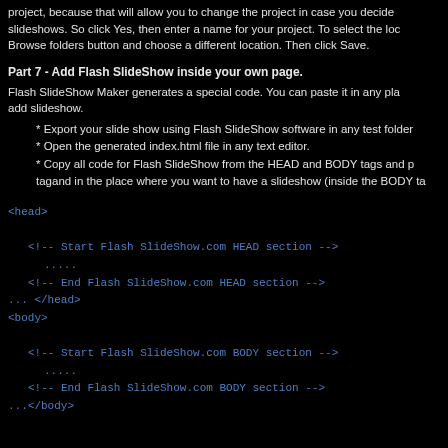project, because that will allow you to change the project in case you decide slideshows. So click Yes, then enter a name for your project. To select the loc Browse folders button and choose a different location. Then click Save.
Part 7 - Add Flash SlideShow inside your own page.
Flash SlideShow Maker generates a special code. You can paste it in any pla add slideshow.
* Export your slide show using Flash SlideShow software in any test folder
* Open the generated index.html file in any text editor.
* Copy all code for Flash SlideShow from the HEAD and BODY tags and p tagand in the place where you want to have a slideshow (inside the BODY ta
<head>
...
  <!-- Start Flash SlideShow.com HEAD section -->
  .....
  <!-- End Flash SlideShow.com HEAD section -->
... </head>
<body>
...
  <!-- Start Flash SlideShow.com BODY section -->
  .....
  <!-- End Flash SlideShow.com BODY section -->
...</body>